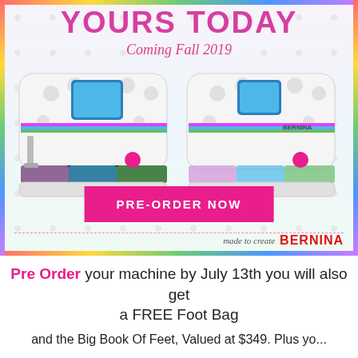[Figure (photo): Advertisement for BERNINA sewing machines with rainbow border, polka dot background, two white sewing machines with colorful accents, 'YOURS TODAY' heading, 'Coming Fall 2019' subheading, 'PRE-ORDER NOW' pink button, and 'made to create BERNINA' logo at bottom right]
Pre Order your machine by July 13th you will also get a FREE Foot Bag
and the Big Book Of Feet, Valued at $349. Plus yo...